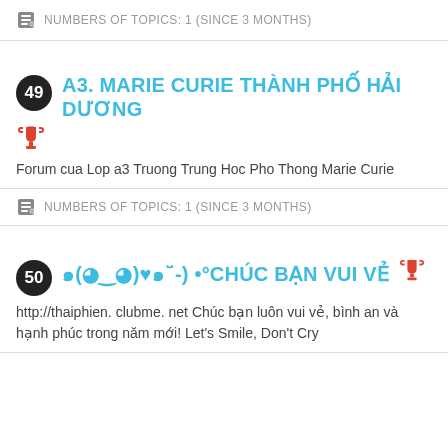NUMBERS OF TOPICS: 1 (SINCE 3 MONTHS)
49 A3. MARIE CURIE THÀNH PHỐ HẢI DƯƠNG
Forum cua Lop a3 Truong Trung Hoc Pho Thong Marie Curie
NUMBERS OF TOPICS: 1 (SINCE 3 MONTHS)
50 ๑(◕‿◕)♥๑˘̩̩̩̩̩̩̩̩̩̩̩̩̩̩̩̩̩̩̩̩̩̩̩-) •°CHÚC BẠN VUI VẺ
http://thaiphien. clubme. net Chúc bạn luôn vui vẻ, bình an và hạnh phúc trong năm mới! Let's Smile, Don't Cry